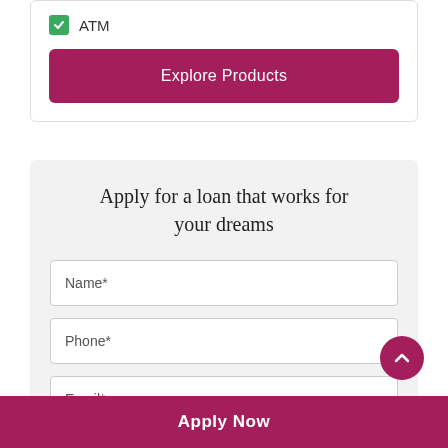ATM
Explore Products
Apply for a loan that works for your dreams
Name*
Phone*
Email*
State*
Apply Now